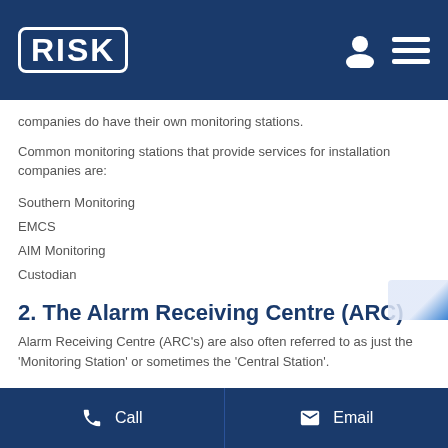RISK
companies do have their own monitoring stations.
Common monitoring stations that provide services for installation companies are:
Southern Monitoring
EMCS
AIM Monitoring
Custodian
2. The Alarm Receiving Centre (ARC)
Alarm Receiving Centre (ARC's) are also often referred to as just the 'Monitoring Station' or sometimes the 'Central Station'.
Call    Email